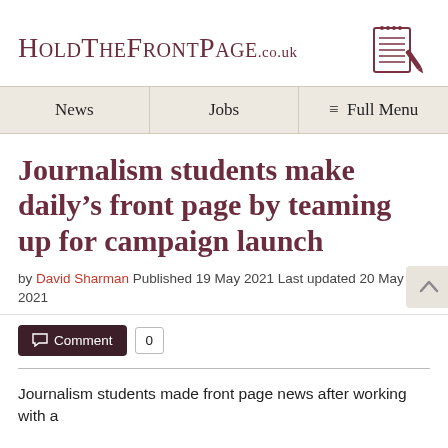[Figure (logo): HoldTheFrontPage.co.uk logo with small-caps text and a notepad/pen icon on the right]
News | Jobs | ≡ Full Menu
Journalism students make daily's front page by teaming up for campaign launch
by David Sharman Published 19 May 2021 Last updated 20 May 2021
Comment 0
Journalism students made front page news after working with a